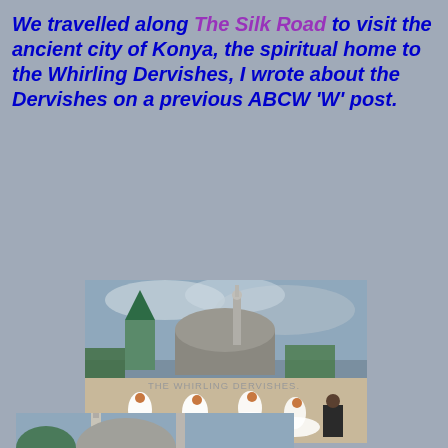We travelled along The Silk Road to visit the ancient city of Konya, the spiritual home to the Whirling Dervishes, I wrote about the Dervishes on a previous ABCW 'W' post.
[Figure (photo): Whirling Dervishes performing in white robes with brown hats in front of a mosque/mausoleum with a green conical tower and minaret at dusk, Konya Turkey]
THE WHIRLING  DERVISHES.
[Figure (photo): Partial view of minarets and a dome, likely another view of Konya architecture, cropped at bottom of page]